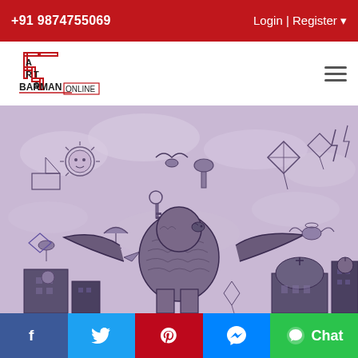+91 9874755069   Login | Register
[Figure (logo): Arts Barman Online logo — staircase letter design with A, R, T, S on steps, BARMAN ONLINE text below]
[Figure (photo): Pencil/charcoal artwork on purple-toned background featuring a large winged figure or statue with spread wings atop urban buildings, surrounded by kites, birds, umbrellas, a sun, and flying figures in a dreamlike sky scene]
f  [Twitter]  [Pinterest]  [Messenger]  Chat